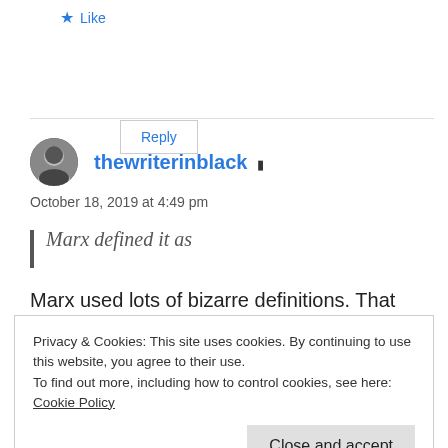Like
Reply
thewriterinblack
October 18, 2019 at 4:49 pm
Marx defined it as
Marx used lots of bizarre definitions. That
Privacy & Cookies: This site uses cookies. By continuing to use this website, you agree to their use.
To find out more, including how to control cookies, see here:
Cookie Policy
Close and accept
“getting poorer” even with a rising